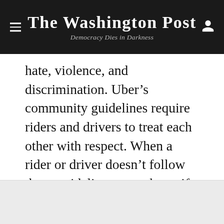The Washington Post
Democracy Dies in Darkness
hate, violence, and discrimination. Uber’s community guidelines require riders and drivers to treat each other with respect. When a rider or driver doesn’t follow these guidelines, we take swift and decisive action, as we did in this instance.”
Story continues below advertisement